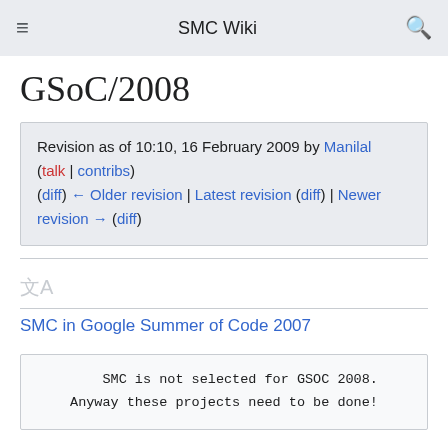SMC Wiki
GSoC/2008
Revision as of 10:10, 16 February 2009 by Manilal (talk | contribs)
(diff) ← Older revision | Latest revision (diff) | Newer revision → (diff)
[Figure (other): Translation/language icon (文A)]
SMC in Google Summer of Code 2007
SMC is not selected for GSOC 2008.
Anyway these projects need to be done!